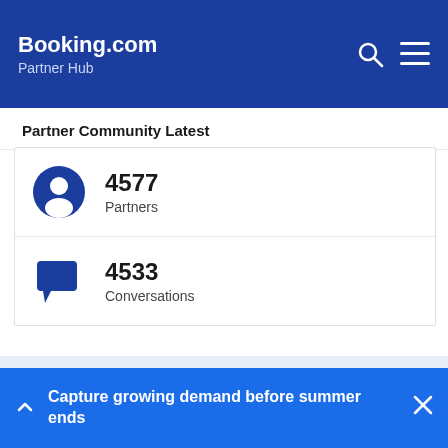Booking.com Partner Hub
Partner Community Latest
4577
Partners
4533
Conversations
Connect and share ideas with
Capture growing demand before summer ends